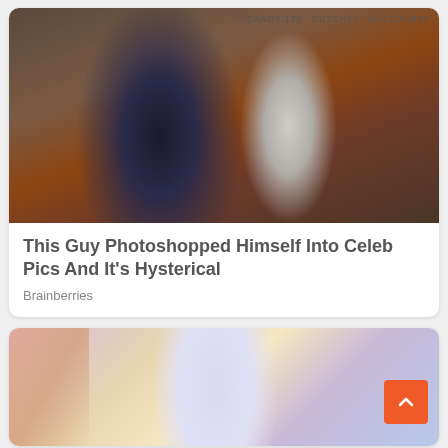[Figure (photo): Two men sitting against a weathered wooden wall with graffiti reading CANDY 178, DUTCH32, MALCOLM38. One man in black sweater sitting upright, another in white shirt leaning on him.]
This Guy Photoshopped Himself Into Celeb Pics And It's Hysterical
Brainberries
[Figure (photo): Person wearing white/light colored leggings or pants against colorful abstract background with purple, yellow, and pink tones.]